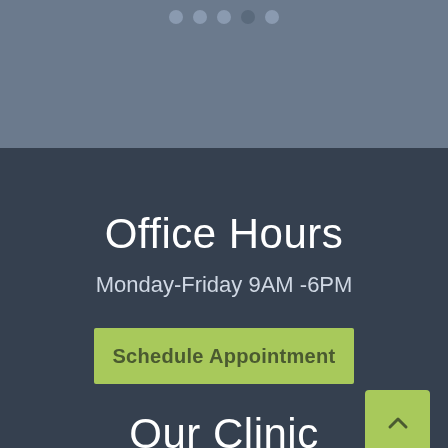[Figure (screenshot): Navigation dots row — five circular indicators at top of page on grey-blue background]
Office Hours
Monday-Friday 9AM -6PM
Schedule Appointment
Our Clinic